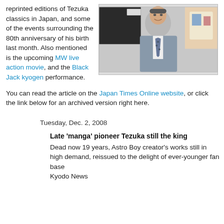reprinted editions of Tezuka classics in Japan, and some of the events surrounding the 80th anniversary of his birth last month. Also mentioned is the upcoming MW live action movie, and the Black Jack kyogen performance.
[Figure (photo): Photograph of a man in a grey suit and patterned tie, with Japanese text/artwork visible in background]
You can read the article on the Japan Times Online website, or click the link below for an archived version right here.
Tuesday, Dec. 2, 2008
Late 'manga' pioneer Tezuka still the king
Dead now 19 years, Astro Boy creator's works still in high demand, reissued to the delight of ever-younger fan base
Kyodo News